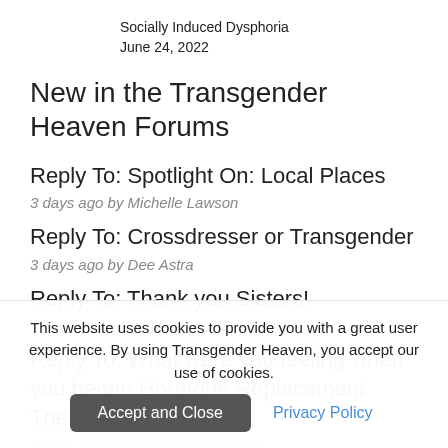Socially Induced Dysphoria
June 24, 2022
New in the Transgender Heaven Forums
Reply To: Spotlight On: Local Places
3 days ago by Michelle Lawson
Reply To: Crossdresser or Transgender
3 days ago by Dee Astra
Reply To: Thank you Sisters!
3 days ago by DeeAnn Hopings
Reply To: What were you feeling when you began Hormone Replacement Therapy?
4 days ago by Marianne Tornander
This website uses cookies to provide you with a great user experience. By using Transgender Heaven, you accept our use of cookies.